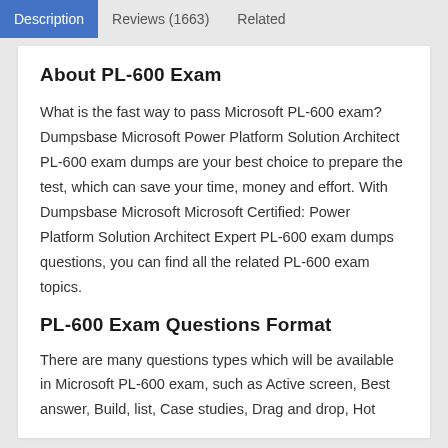Description | Reviews (1663) | Related
About PL-600 Exam
What is the fast way to pass Microsoft PL-600 exam? Dumpsbase Microsoft Power Platform Solution Architect PL-600 exam dumps are your best choice to prepare the test, which can save your time, money and effort. With Dumpsbase Microsoft Microsoft Certified: Power Platform Solution Architect Expert PL-600 exam dumps questions, you can find all the related PL-600 exam topics.
PL-600 Exam Questions Format
There are many questions types which will be available in Microsoft PL-600 exam, such as Active screen, Best answer, Build, list, Case studies, Drag and drop, Hot